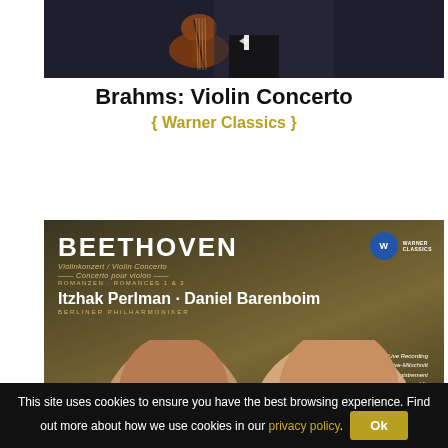[Figure (photo): Top portion of album cover or promotional image showing a violin and person in formal attire against dark background]
Brahms: Violin Concerto
{ Warner Classics }
[Figure (photo): Beethoven Violin Concerto album cover by Itzhak Perlman and Daniel Barenboim with Berliner Philharmoniker, Warner Classics. Shows composers' faces and text: Violinkonzert / Violin Concerto / Concerto pour violon / ROMANZEN · ROMANCES 1 & 2. Live Recording / Live-Mitschnitt / Enregistrement public]
This site uses cookies to ensure you have the best browsing experience. Find out more about how we use cookies in our privacy policy.